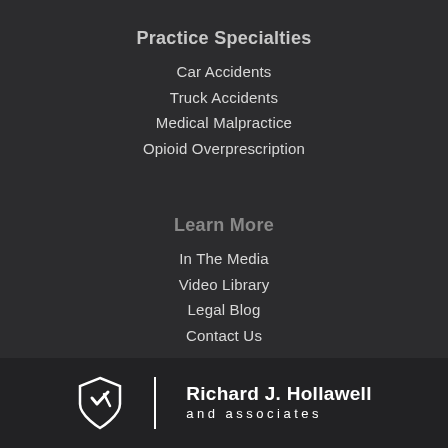Practice Specialties
Car Accidents
Truck Accidents
Medical Malpractice
Opioid Overprescription
Learn More
In The Media
Video Library
Legal Blog
Contact Us
[Figure (logo): Richard J. Hollawell and Associates law firm logo: shield icon with a checkmark/lightning bolt design, vertical white divider line, firm name in bold white text]
Richard J. Hollawell and associates